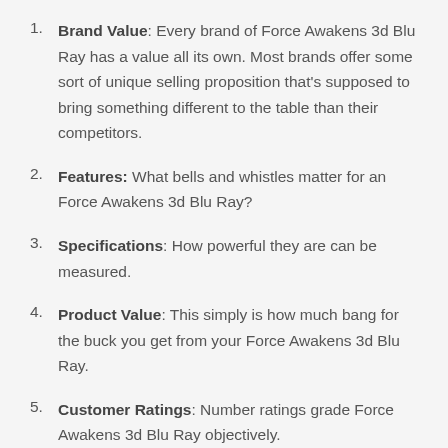Brand Value: Every brand of Force Awakens 3d Blu Ray has a value all its own. Most brands offer some sort of unique selling proposition that's supposed to bring something different to the table than their competitors.
Features: What bells and whistles matter for an Force Awakens 3d Blu Ray?
Specifications: How powerful they are can be measured.
Product Value: This simply is how much bang for the buck you get from your Force Awakens 3d Blu Ray.
Customer Ratings: Number ratings grade Force Awakens 3d Blu Ray objectively.